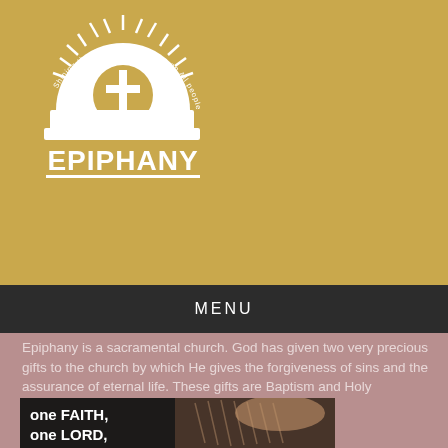[Figure (logo): Epiphany church logo — white sun/cross emblem rising from an open book with rays, circular text reading 'Shining the light of God's Love on All people', and the word EPIPHANY in white capitals below on a golden background.]
MENU
Epiphany is a sacramental church. God has given two very precious gifts to the church by which He gives the forgiveness of sins and the assurance of eternal life. These gifts are Baptism and Holy Communion.
[Figure (photo): A photograph of hands breaking bread, with bold white overlay text reading 'one FAITH, one LORD,' on a dark background.]